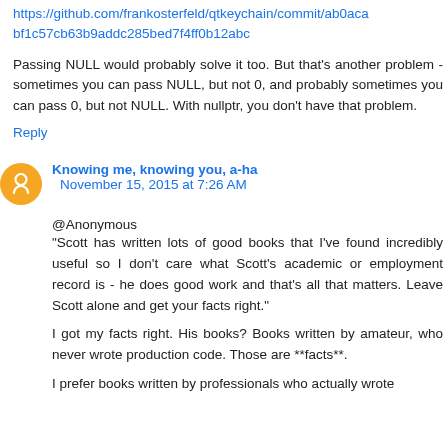https://github.com/frankosterfeld/qtkeychain/commit/ab0acabf1c57cb63b9addc285bed7f4ff0b12abc
Passing NULL would probably solve it too. But that's another problem - sometimes you can pass NULL, but not 0, and probably sometimes you can pass 0, but not NULL. With nullptr, you don't have that problem.
Reply
Knowing me, knowing you, a-ha  November 15, 2015 at 7:26 AM
@Anonymous
"Scott has written lots of good books that I've found incredibly useful so I don't care what Scott's academic or employment record is - he does good work and that's all that matters. Leave Scott alone and get your facts right."
I got my facts right. His books? Books written by amateur, who never wrote production code. Those are **facts**.
I prefer books written by professionals who actually wrote